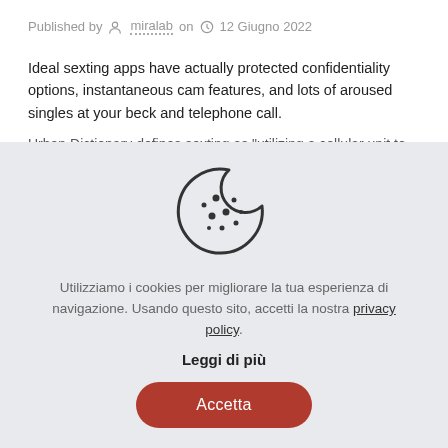Published by miralab on 12 Giugno 2022
Ideal sexting apps have actually protected confidentiality options, instantaneous cam features, and lots of aroused singles at your beck and telephone call.
Urban Dictionary defines sexting as "utilizing a cellular unit to
[Figure (illustration): Cookie icon — a round cookie with a bite taken out of the top-right, with small dots scattered across it, drawn in a simple outline style]
Utilizziamo i cookies per migliorare la tua esperienza di navigazione. Usando questo sito, accetti la nostra privacy policy.
Leggi di più
Accetta